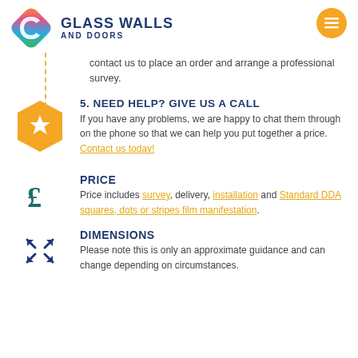[Figure (logo): Glass Walls and Doors logo with colorful diamond shape and text]
contact us to place an order and arrange a professional survey.
5. NEED HELP? GIVE US A CALL
If you have any problems, we are happy to chat them through on the phone so that we can help you put together a price. Contact us today!
PRICE
Price includes survey, delivery, installation and Standard DDA squares, dots or stripes film manifestation.
DIMENSIONS
Please note this is only an approximate guidance and can change depending on circumstances.